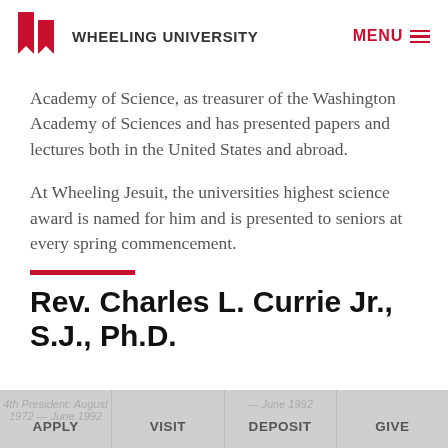WHEELING UNIVERSITY
Academy of Science, as treasurer of the Washington Academy of Sciences and has presented papers and lectures both in the United States and abroad.
At Wheeling Jesuit, the universities highest science award is named for him and is presented to seniors at every spring commencement.
Rev. Charles L. Currie Jr., S.J., Ph.D.
4th President: August 1972 — June 1992  APPLY  VISIT  DEPOSIT  GIVE